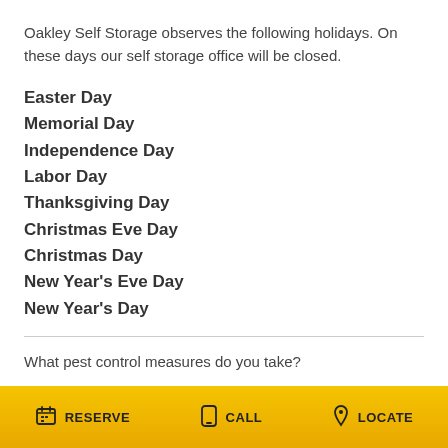Oakley Self Storage observes the following holidays. On these days our self storage office will be closed.
Easter Day
Memorial Day
Independence Day
Labor Day
Thanksgiving Day
Christmas Eve Day
Christmas Day
New Year's Eve Day
New Year's Day
What pest control measures do you take?
RESERVE   CALL   LOCATE